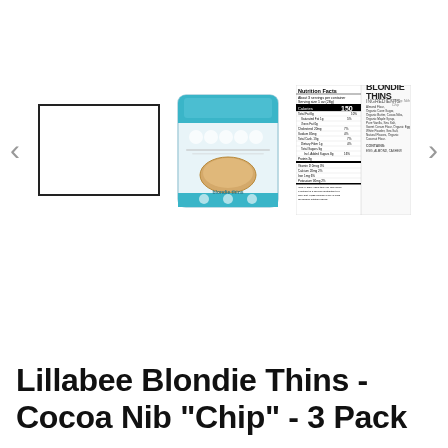[Figure (photo): Product image carousel showing: a blank white rectangle with border (placeholder thumbnail), a Lillabee Blondie Thins teal/white product bag with cookie image, and a nutrition facts panel with 'BLONDIE THINS' branding showing 150 calories. Left and right navigation arrows flank the images.]
Lillabee Blondie Thins - Cocoa Nib "Chip" - 3 Pack